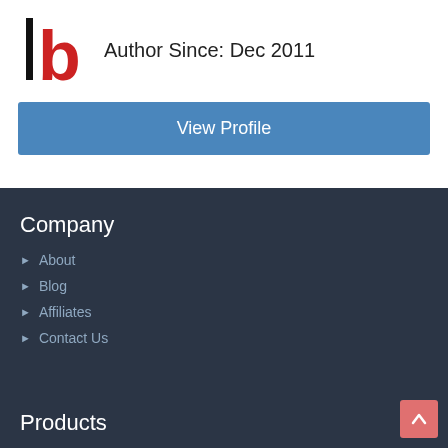[Figure (logo): Logo with a vertical black bar and red letter b]
Author Since: Dec 2011
View Profile
Company
About
Blog
Affiliates
Contact Us
Products